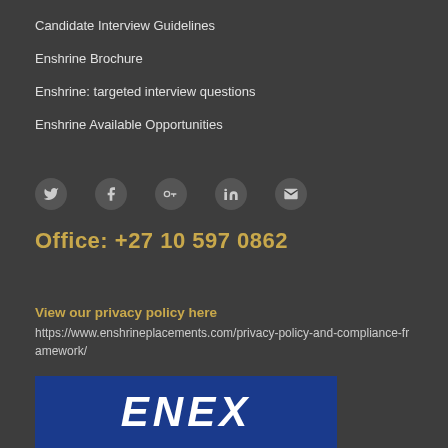Candidate Interview Guidelines
Enshrine Brochure
Enshrine: targeted interview questions
Enshrine Available Opportunities
[Figure (infographic): Row of social media icons: Twitter, Facebook, Google+, LinkedIn, Email]
Office: +27 10 597 0862
View our privacy policy here
https://www.enshrineplacements.com/privacy-policy-and-compliance-framework/
[Figure (logo): Enshrine Placements logo — blue background with white italic text 'ENEX' partially visible]